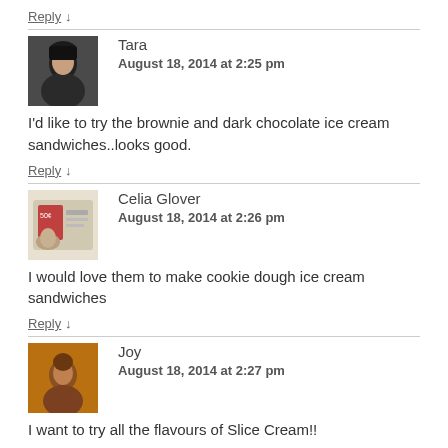Reply ↓
Tara
August 18, 2014 at 2:25 pm
[Figure (photo): Avatar photo of Tara, a woman with dark hair]
I'd like to try the brownie and dark chocolate ice cream sandwiches..looks good.
Reply ↓
Celia Glover
August 18, 2014 at 2:26 pm
[Figure (photo): Avatar image of Celia Glover, showing a hand holding a magazine]
I would love them to make cookie dough ice cream sandwiches
Reply ↓
Joy
August 18, 2014 at 2:27 pm
[Figure (photo): Avatar photo of Joy with an orange/warm background]
I want to try all the flavours of Slice Cream!!
Reply ↓
Monique L.S.
August 18, 2014 at 2:31 pm
[Figure (illustration): Avatar image of Monique L.S. with a geometric diamond pattern in gold/yellow tones]